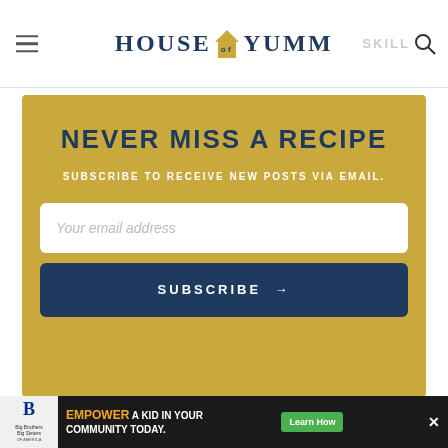HOUSE OF YUMM
NEVER MISS A RECIPE
SUBSCRIBE TO RECEIVE NEW POSTS VIA EMAIL.
Your email address
SUBSCRIBE →
[Figure (infographic): Advertisement banner: Big Brothers Big Sisters logo, 'EMPOWER A KID IN YOUR COMMUNITY TODAY.' with a green Learn How button]